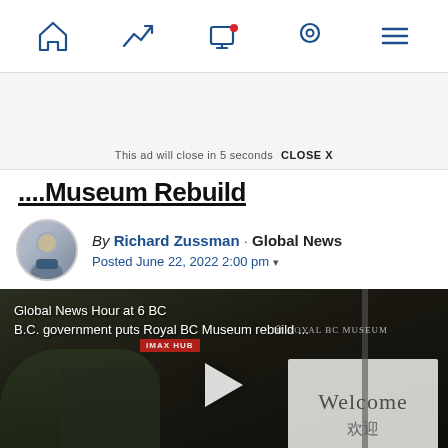Navigation bar with home, trending, screen/notification, location, and menu icons
This ad will close in 5 seconds  CLOSE X
…Museum Rebuild
By Richard Zussman · Global News
Posted June 22, 2022 2:00 pm ▾
[Figure (screenshot): Video thumbnail showing Royal BC Museum sign with 'Welcome / 欢迎' and overlay text: 'Global News Hour at 6 BC / B.C. government puts Royal BC Museum rebuild ...' with a play button]